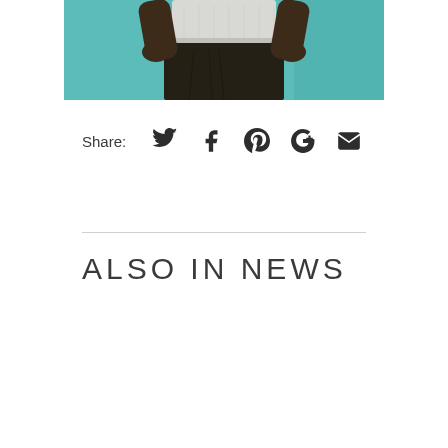[Figure (photo): Partial photo of a person wearing a white/grey patterned shirt and dark cargo shorts, standing against a teal/turquoise background, cropped at the torso]
Share:  [Twitter] [Facebook] [Pinterest] [Google+] [Email]
ALSO IN NEWS